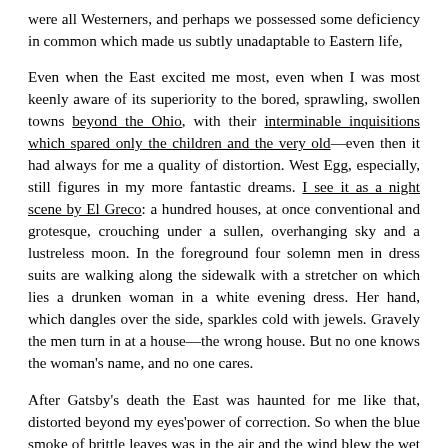were all Westerners, and perhaps we possessed some deficiency in common which made us subtly unadaptable to Eastern life,
Even when the East excited me most, even when I was most keenly aware of its superiority to the bored, sprawling, swollen towns beyond the Ohio, with their interminable inquisitions which spared only the children and the very old—even then it had always for me a quality of distortion. West Egg, especially, still figures in my more fantastic dreams. I see it as a night scene by El Greco: a hundred houses, at once conventional and grotesque, crouching under a sullen, overhanging sky and a lustreless moon. In the foreground four solemn men in dress suits are walking along the sidewalk with a stretcher on which lies a drunken woman in a white evening dress. Her hand, which dangles over the side, sparkles cold with jewels. Gravely the men turn in at a house—the wrong house. But no one knows the woman's name, and no one cares.
After Gatsby's death the East was haunted for me like that, distorted beyond my eyes'power of correction. So when the blue smoke of brittle leaves was in the air and the wind blew the wet laundry stiff on the line I decided to come back home.